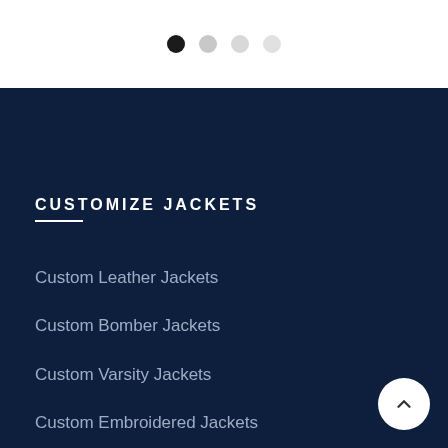[Figure (other): Pagination dots: one dark filled circle followed by three lighter grey circles, indicating a carousel/slideshow position indicator]
CUSTOMIZE JACKETS
Custom Leather Jackets
Custom Bomber Jackets
Custom Varsity Jackets
Custom Embroidered Jackets
Custom Denim Jackets
Custom Trench Coats